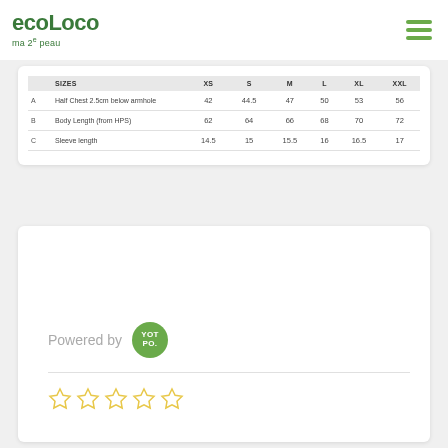ecoLoco ma 2e peau
|  | SIZES | XS | S | M | L | XL | XXL |
| --- | --- | --- | --- | --- | --- | --- | --- |
| A | Half Chest 2.5cm below armhole | 42 | 44.5 | 47 | 50 | 53 | 56 |
| B | Body Length (from HPS) | 62 | 64 | 66 | 68 | 70 | 72 |
| C | Sleeve length | 14.5 | 15 | 15.5 | 16 | 16.5 | 17 |
[Figure (logo): Yotpo logo badge - green circle with YOT PO. text in white]
Powered by YOTPO
[Figure (other): Five empty star rating icons in yellow/gold outline]